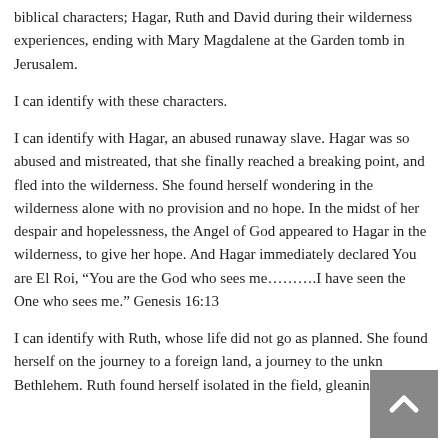biblical characters; Hagar, Ruth and David during their wilderness experiences, ending with Mary Magdalene at the Garden tomb in Jerusalem.
I can identify with these characters.
I can identify with Hagar, an abused runaway slave. Hagar was so abused and mistreated, that she finally reached a breaking point, and fled into the wilderness. She found herself wondering in the wilderness alone with no provision and no hope. In the midst of her despair and hopelessness, the Angel of God appeared to Hagar in the wilderness, to give her hope. And Hagar immediately declared You are El Roi, "You are the God who sees me………I have seen the One who sees me." Genesis 16:13
I can identify with Ruth, whose life did not go as planned. She found herself on the journey to a foreign land, a journey to the unknown Bethlehem. Ruth found herself isolated in the field, gleaning after the